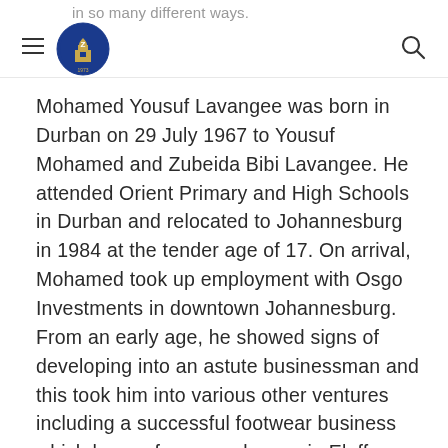in so many different ways.
Mohamed Yousuf Lavangee was born in Durban on 29 July 1967 to Yousuf Mohamed and Zubeida Bibi Lavangee. He attended Orient Primary and High Schools in Durban and relocated to Johannesburg in 1984 at the tender age of 17. On arrival, Mohamed took up employment with Osgo Investments in downtown Johannesburg. From an early age, he showed signs of developing into an astute businessman and this took him into various other ventures including a successful footwear business which he ran for several years in Eloff Street, Johannesburg.